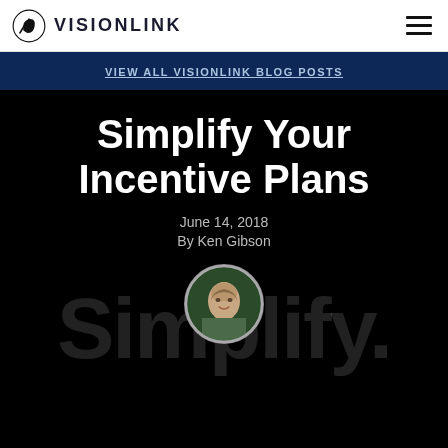VISIONLINK
VIEW ALL VISIONLINK BLOG POSTS
Simplify Your Incentive Plans
June 14, 2018
By Ken Gibson
[Figure (photo): Circular portrait photo of Ken Gibson, a middle-aged man with short hair, smiling, against a dark background]